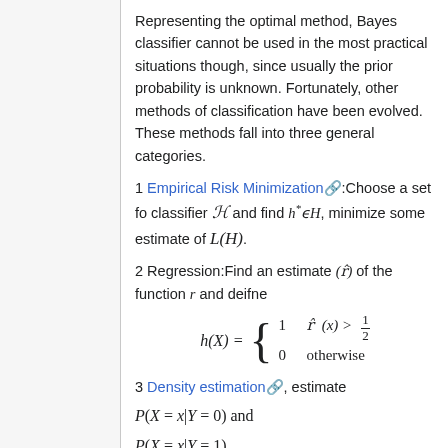Representing the optimal method, Bayes classifier cannot be used in the most practical situations though, since usually the prior probability is unknown. Fortunately, other methods of classification have been evolved. These methods fall into three general categories.
1 Empirical Risk Minimization: Choose a set fo classifier H and find h*∈H, minimize some estimate of L(H).
2 Regression: Find an estimate (r̂) of the function r and deifne h(X) = { 1 if r̂(x) > 1/2; 0 otherwise }
3 Density estimation, estimate P(X=x|Y=0) and P(X=x|Y=1)